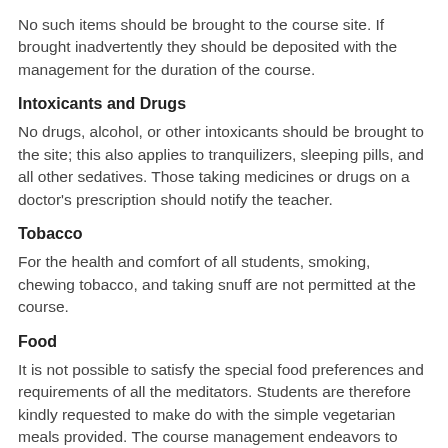No such items should be brought to the course site. If brought inadvertently they should be deposited with the management for the duration of the course.
Intoxicants and Drugs
No drugs, alcohol, or other intoxicants should be brought to the site; this also applies to tranquilizers, sleeping pills, and all other sedatives. Those taking medicines or drugs on a doctor's prescription should notify the teacher.
Tobacco
For the health and comfort of all students, smoking, chewing tobacco, and taking snuff are not permitted at the course.
Food
It is not possible to satisfy the special food preferences and requirements of all the meditators. Students are therefore kindly requested to make do with the simple vegetarian meals provided. The course management endeavors to prepare a